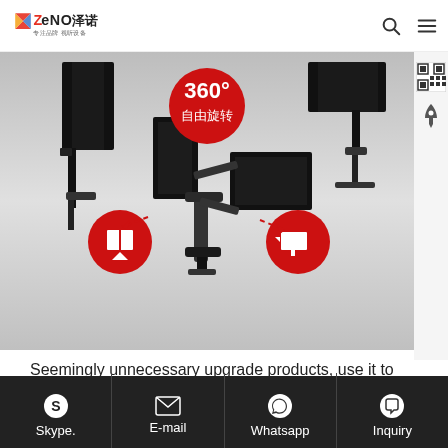ZENO 泽诺 专注品牌 视听设备
[Figure (photo): Product photo showing a dual monitor arm mount with 360-degree rotation capability. Red circular icons indicate portrait and landscape rotation modes. Chinese text '360° 自由旋转' (360° Free Rotation) shown in a red circle at top center.]
Seemingly unnecessary upgrade products, use it to know that every use of the computer needs it! Multi-function, and can save space.
Skype.  E-mail  Whatsapp  Inquiry